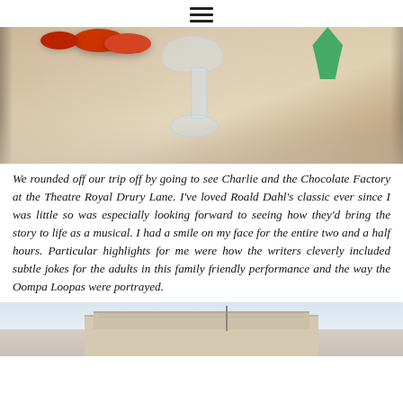≡
[Figure (photo): Close-up photo of crystal glass candy dish with red macarons/candies and a green decorative item on a marble surface]
We rounded off our trip off by going to see Charlie and the Chocolate Factory at the Theatre Royal Drury Lane. I've loved Roald Dahl's classic ever since I was little so was especially looking forward to seeing how they'd bring the story to life as a musical. I had a smile on my face for the entire two and a half hours. Particular highlights for me were how the writers cleverly included subtle jokes for the adults in this family friendly performance and the way the Oompa Loopas were portrayed.
[Figure (photo): Exterior photo of a building facade, appears to be the Theatre Royal Drury Lane, with beige/cream coloured stonework and sky in background]